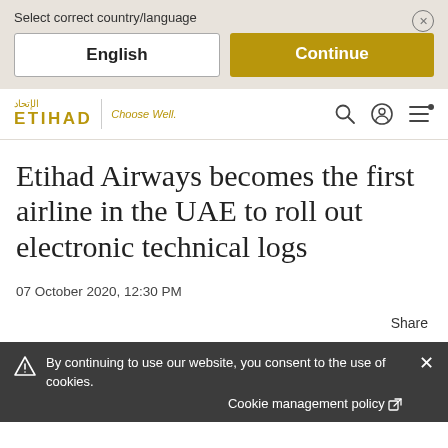Select correct country/language
English
Continue
[Figure (logo): Etihad Airways logo with Arabic text and 'Choose Well.' tagline, with navigation icons (search, account, menu)]
Etihad Airways becomes the first airline in the UAE to roll out electronic technical logs
07 October 2020, 12:30 PM
Share
By continuing to use our website, you consent to the use of cookies.
Cookie management policy